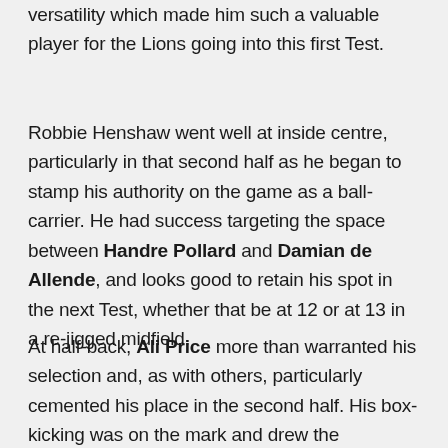the trot, the speed in the chase and the positional versatility which made him such a valuable player for the Lions going into this first Test.
Robbie Henshaw went well at inside centre, particularly in that second half as he began to stamp his authority on the game as a ball-carrier. He had success targeting the space between Handre Pollard and Damian de Allende, and looks good to retain his spot in the next Test, whether that be at 12 or at 13 in a re-jigged midfield.
At half-back, Ali Price more than warranted his selection and, as with others, particularly cemented his place in the second half. His box-kicking was on the mark and drew the Springbok back field into a